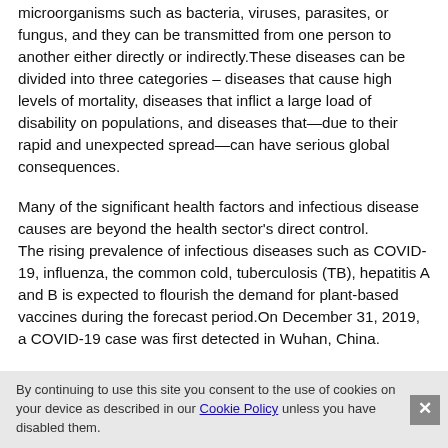microorganisms such as bacteria, viruses, parasites, or fungus, and they can be transmitted from one person to another either directly or indirectly.These diseases can be divided into three categories – diseases that cause high levels of mortality, diseases that inflict a large load of disability on populations, and diseases that—due to their rapid and unexpected spread—can have serious global consequences.
Many of the significant health factors and infectious disease causes are beyond the health sector's direct control. The rising prevalence of infectious diseases such as COVID-19, influenza, the common cold, tuberculosis (TB), hepatitis A and B is expected to flourish the demand for plant-based vaccines during the forecast period.On December 31, 2019, a COVID-19 case was first detected in Wuhan, China.
On March 11, 2020, the World Health Organization proclaimed
By continuing to use this site you consent to the use of cookies on your device as described in our Cookie Policy unless you have disabled them.